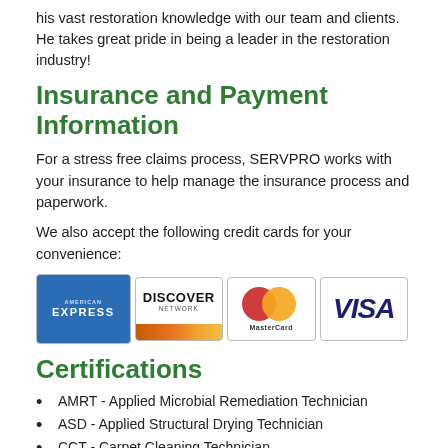his vast restoration knowledge with our team and clients. He takes great pride in being a leader in the restoration industry!
Insurance and Payment Information
For a stress free claims process, SERVPRO works with your insurance to help manage the insurance process and paperwork.
We also accept the following credit cards for your convenience:
[Figure (illustration): Four credit card logos: American Express, Discover Network, MasterCard, Visa]
Certifications
AMRT - Applied Microbial Remediation Technician
ASD - Applied Structural Drying Technician
CCT - Carpet Cleaning Technician
CMT - Commercial Carpet Maintenance Technician
CRT - Color Repair Technician
ECTP - Employee Certification Training Program